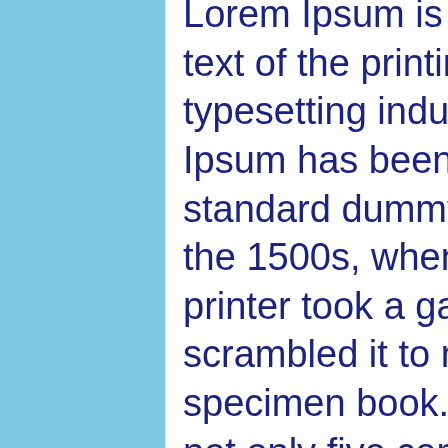Lorem Ipsum is simply dummy text of the printing and typesetting industry. Lorem Ipsum has been the industry's standard dummy text ever since the 1500s, when an unknown printer took a galley of type and scrambled it to make a type specimen book. It has survived not only five centuries, but also the leap into electronic typesetting, remaining essentially unchanged. It was popularised in the 1960s with the release of Letraset sheets containing Lorem Ipsum passages, and more recently